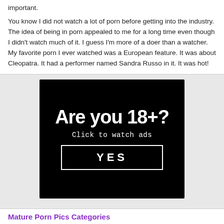important.

You know I did not watch a lot of porn before getting into the industry. The idea of being in porn appealed to me for a long time even though I didn't watch much of it. I guess I'm more of a doer than a watcher. My favorite porn I ever watched was a European feature. It was about Cleopatra. It had a performer named Sandra Russo in it. It was hot!
[Figure (other): Age verification advertisement with black background. Large white bold text reads 'Are you 18+?', below it smaller text 'Click to watch ads', and a bordered button labeled 'YES'.]
Mature Porn Pics Categories